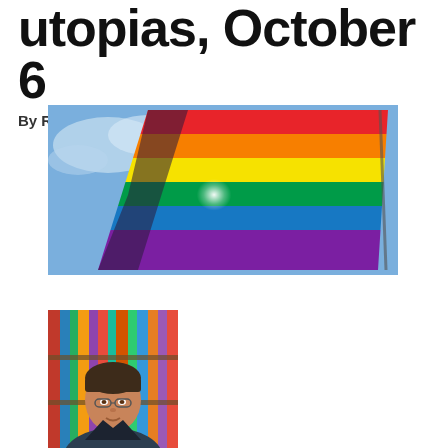utopias, October 6
By Rachel Hatch  October 1, 2017
[Figure (photo): A rainbow pride flag waving against a blue sky with sunlight shining through it]
[Figure (photo): Portrait of a man in front of a bookshelf filled with colorful books]